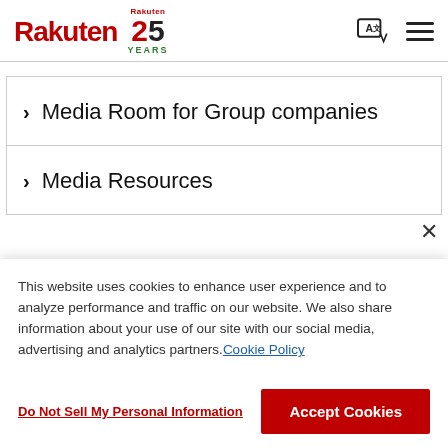[Figure (logo): Rakuten logo with red text and underline, alongside Rakuten 25 Years anniversary badge]
> Media Room for Group companies
> Media Resources
This website uses cookies to enhance user experience and to analyze performance and traffic on our website. We also share information about your use of our site with our social media, advertising and analytics partners. Cookie Policy
Do Not Sell My Personal Information
Accept Cookies